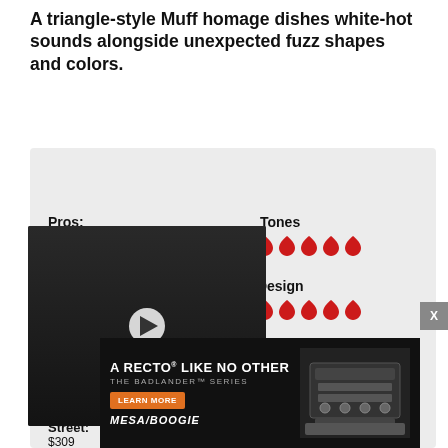A triangle-style Muff homage dishes white-hot sounds alongside unexpected fuzz shapes and colors.
Ratings
Pros:
Tones
Build Design
Ease Of Use
Value
High-gain settings relatively harsh.
Street: $309
[Figure (photo): Video thumbnail showing a musician playing guitar, with a play button overlay]
[Figure (photo): Advertisement for Mesa/Boogie Badlander Series amplifier with text 'A RECTO LIKE NO OTHER THE BADLANDER SERIES', a LEARN MORE button, and an image of the amp head]